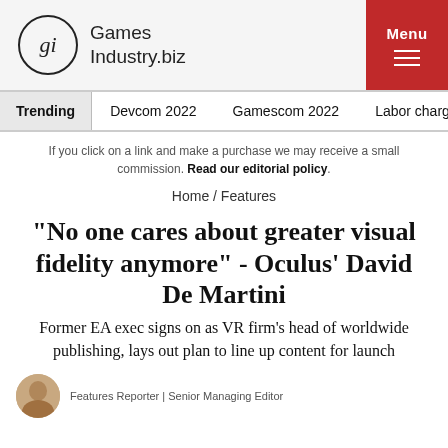gi GamesIndustry.biz | Menu
Trending | Devcom 2022 | Gamescom 2022 | Labor charge ag
If you click on a link and make a purchase we may receive a small commission. Read our editorial policy.
Home / Features
"No one cares about greater visual fidelity anymore" - Oculus' David De Martini
Former EA exec signs on as VR firm's head of worldwide publishing, lays out plan to line up content for launch
Features Reporter | Senior Managing Editor